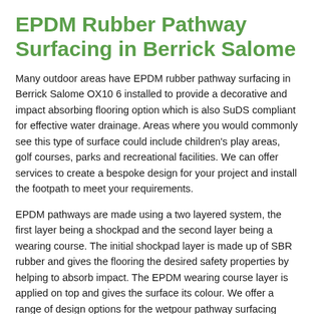EPDM Rubber Pathway Surfacing in Berrick Salome
Many outdoor areas have EPDM rubber pathway surfacing in Berrick Salome OX10 6 installed to provide a decorative and impact absorbing flooring option which is also SuDS compliant for effective water drainage. Areas where you would commonly see this type of surface could include children's play areas, golf courses, parks and recreational facilities. We can offer services to create a bespoke design for your project and install the footpath to meet your requirements.
EPDM pathways are made using a two layered system, the first layer being a shockpad and the second layer being a wearing course. The initial shockpad layer is made up of SBR rubber and gives the flooring the desired safety properties by helping to absorb impact. The EPDM wearing course layer is applied on top and gives the surface its colour. We offer a range of design options for the wetpour pathway surfacing including vibrant colours and mixed blends of more natural colours like brown and grey. The rubber system is completely porous meaning it is suitable for all weather